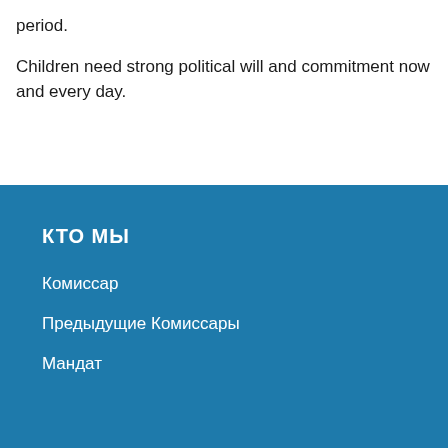period.
Children need strong political will and commitment now and every day.
КТО МЫ
Комиссар
Предыдущие Комиссары
Мандат